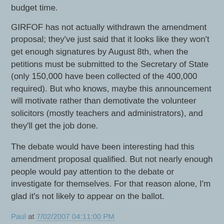budget time.
GIRFOF has not actually withdrawn the amendment proposal; they've just said that it looks like they won't get enough signatures by August 8th, when the petitions must be submitted to the Secretary of State (only 150,000 have been collected of the 400,000 required). But who knows, maybe this announcement will motivate rather than demotivate the volunteer solicitors (mostly teachers and administrators), and they'll get the job done.
The debate would have been interesting had this amendment proposal qualified. But not nearly enough people would pay attention to the debate or investigate for themselves. For that reason alone, I'm glad it's not likely to appear on the ballot.
Paul at 7/02/2007 04:11:00 PM
No comments:
Post a Comment